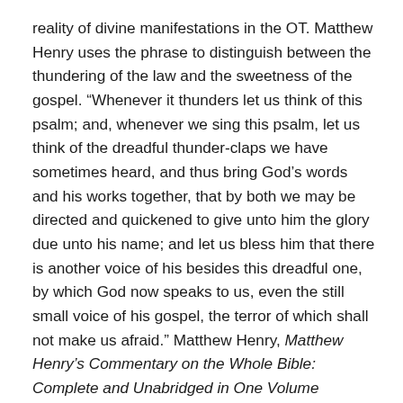reality of divine manifestations in the OT. Matthew Henry uses the phrase to distinguish between the thundering of the law and the sweetness of the gospel. “Whenever it thunders let us think of this psalm; and, whenever we sing this psalm, let us think of the dreadful thunder-claps we have sometimes heard, and thus bring God’s words and his works together, that by both we may be directed and quickened to give unto him the glory due unto his name; and let us bless him that there is another voice of his besides this dreadful one, by which God now speaks to us, even the still small voice of his gospel, the terror of which shall not make us afraid.” Matthew Henry, Matthew Henry’s Commentary on the Whole Bible: Complete and Unabridged in One Volume (Peabody: Hendrickson, 1994), 782.